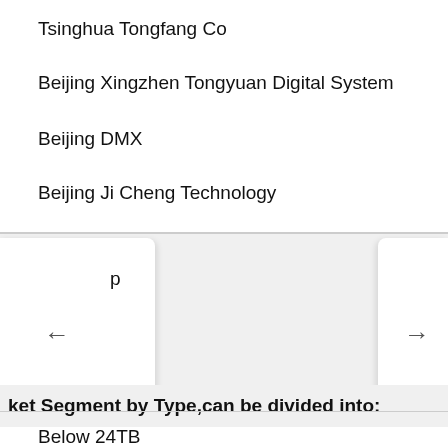Tsinghua Tongfang Co
Beijing Xingzhen Tongyuan Digital System
Beijing DMX
Beijing Ji Cheng Technology
p
ket Segment by Type,can be divided into:
Below 24TB
24-48TB
48-100TB
100-360TB